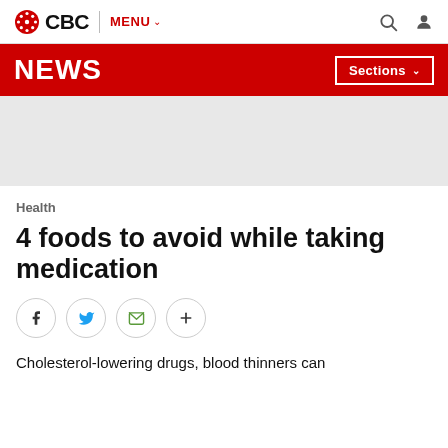CBC | MENU
NEWS | Sections
[Figure (other): Gray advertisement/banner placeholder area]
Health
4 foods to avoid while taking medication
[Figure (other): Social share buttons: Facebook, Twitter, Email, More (+)]
Cholesterol-lowering drugs, blood thinners can